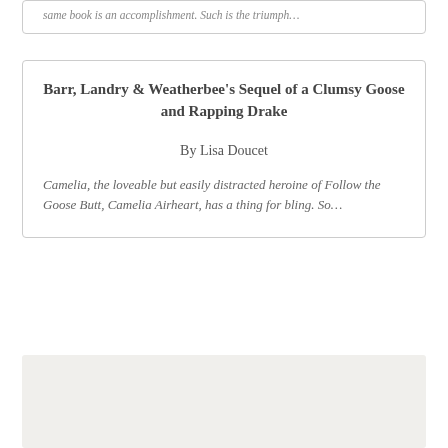same book is an accomplishment. Such is the triumph…
Barr, Landry & Weatherbee's Sequel of a Clumsy Goose and Rapping Drake
By Lisa Doucet
Camelia, the loveable but easily distracted heroine of Follow the Goose Butt, Camelia Airheart, has a thing for bling. So…
[Figure (other): Light beige/grey placeholder box at bottom of page]